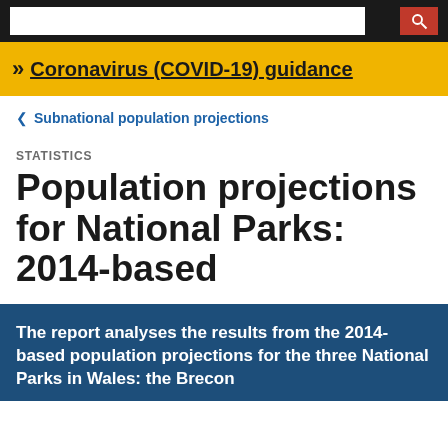>> Coronavirus (COVID-19) guidance
< Subnational population projections
STATISTICS
Population projections for National Parks: 2014-based
The report analyses the results from the 2014-based population projections for the three National Parks in Wales: the Brecon